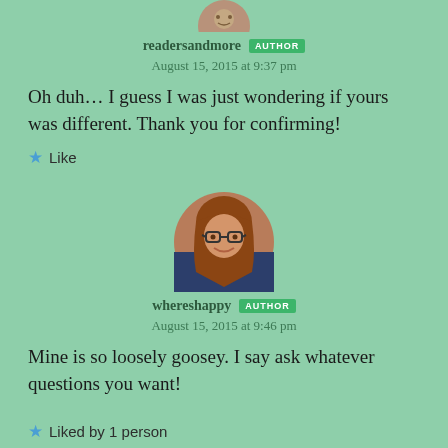[Figure (photo): Partial avatar image at top, cropped circle]
readersandmore AUTHOR
August 15, 2015 at 9:37 pm
Oh duh… I guess I was just wondering if yours was different. Thank you for confirming!
★ Like
[Figure (photo): Circular avatar photo of a woman with glasses and brown hair]
whereshappy AUTHOR
August 15, 2015 at 9:46 pm
Mine is so loosely goosey. I say ask whatever questions you want!
★ Liked by 1 person